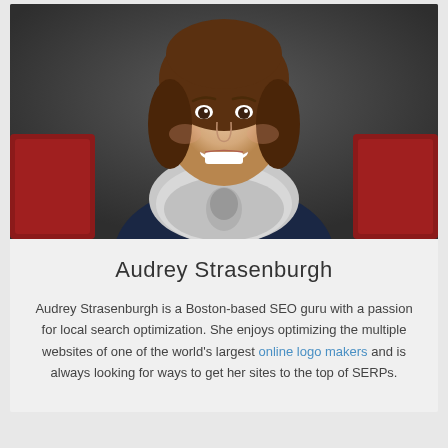[Figure (photo): Portrait photo of Audrey Strasenburgh, a woman with brown hair smiling, wearing a navy sweater and a light grey infinity scarf, seated in front of a red chair, with a dark grey background.]
Audrey Strasenburgh
Audrey Strasenburgh is a Boston-based SEO guru with a passion for local search optimization. She enjoys optimizing the multiple websites of one of the world's largest online logo makers and is always looking for ways to get her sites to the top of SERPs.